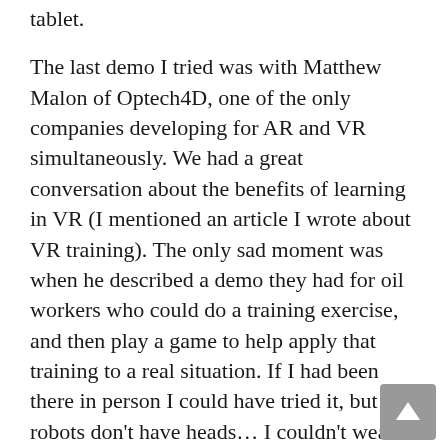tablet.
The last demo I tried was with Matthew Malon of Optech4D, one of the only companies developing for AR and VR simultaneously. We had a great conversation about the benefits of learning in VR (I mentioned an article I wrote about VR training). The only sad moment was when he described a demo they had for oil workers who could do a training exercise, and then play a game to help apply that training to a real situation. If I had been there in person I could have tried it, but robots don't have heads… I couldn't wear the glasses.
I trundled on, enjoying the sights and sounds. At one point I even had a conversation with another robot—a fellow Beamer. Ernst had told me earlier that while I had been given a press pass to try this technology for free, some of the robots were actually paying